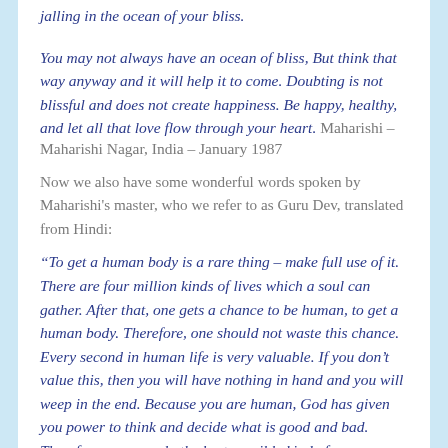jalling in the ocean of your bliss. You may not always have an ocean of bliss, But think that way anyway and it will help it to come. Doubting is not blissful and does not create happiness. Be happy, healthy, and let all that love flow through your heart." Maharishi – Maharishi Nagar, India – January 1987
Now we also have some wonderful words spoken by Maharishi's master, who we refer to as Guru Dev, translated from Hindi:
“To get a human body is a rare thing – make full use of it. There are four million kinds of lives which a soul can gather. After that, one gets a chance to be human, to get a human body. Therefore, one should not waste this chance. Every second in human life is very valuable. If you don’t value this, then you will have nothing in hand and you will weep in the end. Because you are human, God has given you power to think and decide what is good and bad. Therefore, you can do the best possible kind of